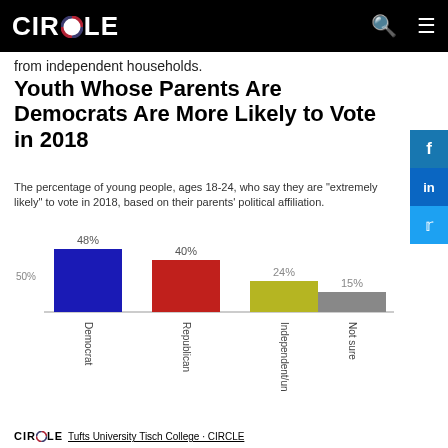CIRCLE
from independent households.
Youth Whose Parents Are Democrats Are More Likely to Vote in 2018
The percentage of young people, ages 18-24, who say they are "extremely likely" to vote in 2018, based on their parents' political affiliation.
[Figure (bar-chart): Youth Whose Parents Are Democrats Are More Likely to Vote in 2018]
CIRCLE Tufts University Tisch College · CIRCLE